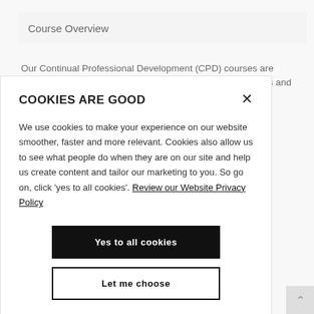Course Overview
Our Continual Professional Development (CPD) courses are designed to open up exciting new possibilities for individuals and
COOKIES ARE GOOD
We use cookies to make your experience on our website smoother, faster and more relevant. Cookies also allow us to see what people do when they are on our site and help us create content and tailor our marketing to you. So go on, click 'yes to all cookies'. Review our Website Privacy Policy
Yes to all cookies
Let me choose